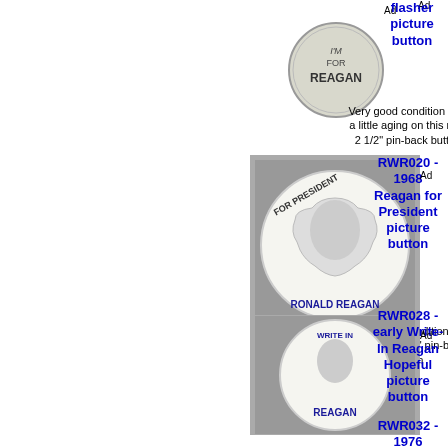[Figure (photo): I'm For Reagan pin-back button, round, gray/silver color with text]
flasher picture button
Very good condition with a little aging on this nice 2 1/2" pin-back button
[Figure (photo): For President Ronald Reagan picture pin-back button, round, black and white photo of Reagan]
RWR020 - 1968 Reagan for President picture button
Very good condition on this nice 3 1/2" pin-back button
[Figure (photo): Write In Reagan Hopeful picture pin-back button, round, black and white photo of Reagan]
RWR028 - early Write-In Reagan Hopeful picture button
Very good condition on this nice 3 1/2" celluloid pin-back button
RWR032 - 1976 Reagan &